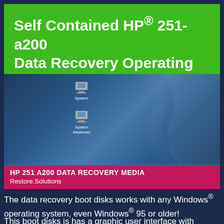Self Contained HP® 251-a200 Data Recovery Operating System Software
[Figure (screenshot): Screenshot of a Windows desktop environment with two drive icons (System and System Reserved) visible on the desktop, and a taskbar at the bottom showing recovery tool icons including a folder, hard drive, backup arrow, lifesaver ring, power button, and clock icons. The bottom of the screenshot has a pink bar reading 'HP 251 A200 DATA RECOVERY MEDIA' and 'Restore.Solutions'.]
The data recovery boot disks works with any Windows® operating system, even Windows® 95 or older!
This boot disks is has a graphic user interface with